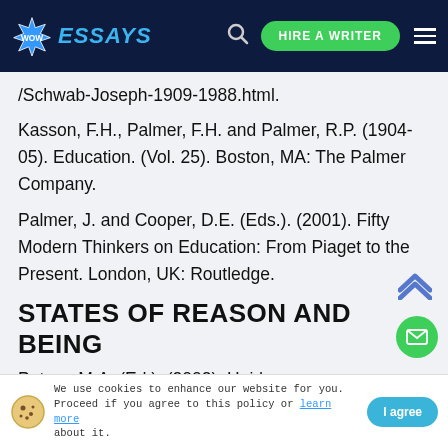WOW ESSAYS — HIRE A WRITER
/Schwab-Joseph-1909-1988.html.
Kasson, F.H., Palmer, F.H. and Palmer, R.P. (1904-05). Education. (Vol. 25). Boston, MA: The Palmer Company.
Palmer, J. and Cooper, D.E. (Eds.). (2001). Fifty Modern Thinkers on Education: From Piaget to the Present. London, UK: Routledge.
STATES OF REASON AND BEING
Peters, M.A. (Ed.). (2002). Heidegger, Education, and Modernity. Lanham, MD: Rowman and Littlefield Publishing Group.
We use cookies to enhance our website for you. Proceed if you agree to this policy or learn more about it.